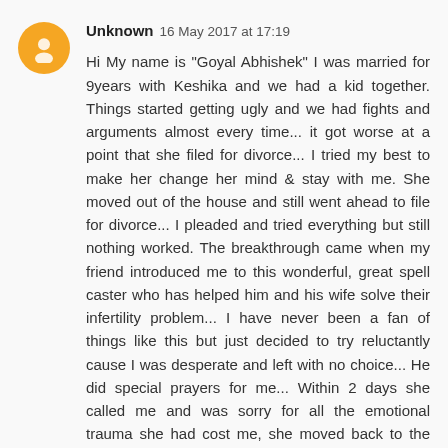Unknown 16 May 2017 at 17:19
Hi My name is "Goyal Abhishek" I was married for 9years with Keshika and we had a kid together. Things started getting ugly and we had fights and arguments almost every time... it got worse at a point that she filed for divorce... I tried my best to make her change her mind & stay with me. She moved out of the house and still went ahead to file for divorce... I pleaded and tried everything but still nothing worked. The breakthrough came when my friend introduced me to this wonderful, great spell caster who has helped him and his wife solve their infertility problem... I have never been a fan of things like this but just decided to try reluctantly cause I was desperate and left with no choice... He did special prayers for me... Within 2 days she called me and was sorry for all the emotional trauma she had cost me, she moved back to the house and we continue to live happily. what a wonderful